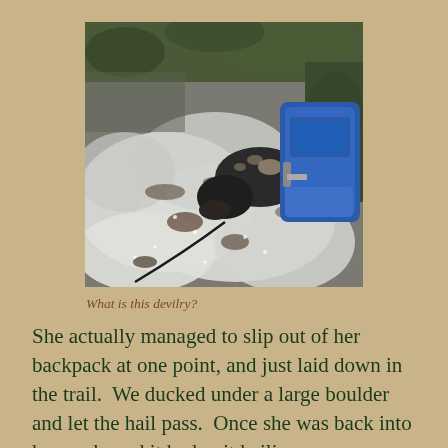[Figure (photo): A dog wearing a blue backpack sniffing at hail-covered ground on a trail, surrounded by grass and rocky terrain.]
What is this devilry?
She actually managed to slip out of her backpack at one point, and just laid down in the trail.  We ducked under a large boulder and let the hail pass.  Once she was back into her pack, and it had quit hailing we continued on.